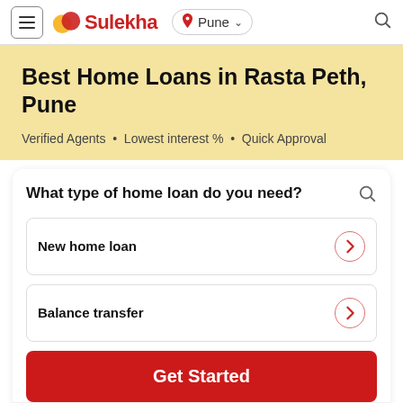Sulekha — Pune
Best Home Loans in Rasta Peth, Pune
Verified Agents • Lowest interest % • Quick Approval
What type of home loan do you need?
New home loan
Balance transfer
Get Started
How Sulekha works?